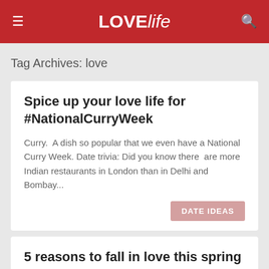LOVElife
Tag Archives: love
Spice up your love life for #NationalCurryWeek
Curry.  A dish so popular that we even have a National Curry Week. Date trivia: Did you know there  are more Indian restaurants in London than in Delhi and Bombay...
DATE IDEAS
5 reasons to fall in love this spring
So spring has officially sprung! Google it.